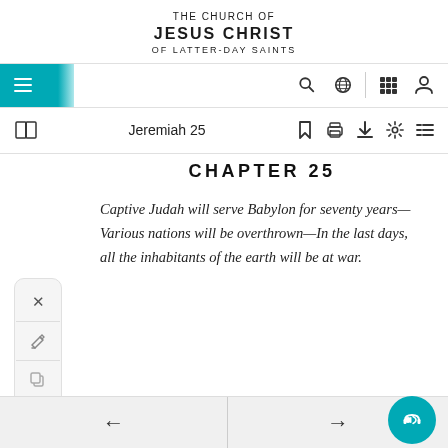THE CHURCH OF JESUS CHRIST OF LATTER-DAY SAINTS
[Figure (screenshot): Navigation bar with hamburger menu (teal), search icon, globe icon, grid icon, profile icon]
[Figure (screenshot): Toolbar showing book icon, 'Jeremiah 25' title, bookmark icon, print icon, download icon, settings icon, list icon]
CHAPTER 25
Captive Judah will serve Babylon for seventy years—Various nations will be overthrown—In the last days, all the inhabitants of the earth will be at war.
← →